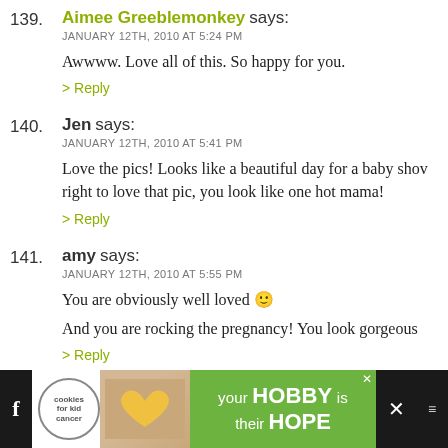139. Aimee Greeblemonkey says:
JANUARY 12TH, 2010 AT 5:24 PM
Awwww. Love all of this. So happy for you.
> Reply
140. Jen says:
JANUARY 12TH, 2010 AT 5:41 PM
Love the pics! Looks like a beautiful day for a baby show right to love that pic, you look like one hot mama!
> Reply
141. amy says:
JANUARY 12TH, 2010 AT 5:55 PM
You are obviously well loved :·
And you are rocking the pregnancy! You look gorgeous
> Reply
[Figure (infographic): Advertisement banner at bottom: cookies for kid cancer logo, hands holding heart cookie image, green background with text 'your HOBBY is their HOPE', close button, dark navigation icons]